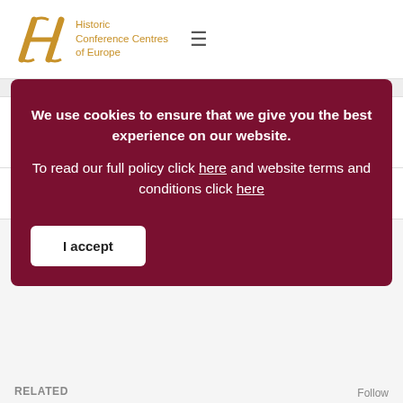Historic Conference Centres of Europe
Happening NOW! MCC is hosting Trojan Horse was a Unicorn (THU)
Where do you go to host a sustainability conference?
We use cookies to ensure that we give you the best experience on our website. To read our full policy click here and website terms and conditions click here
I accept
RELATED
Follow